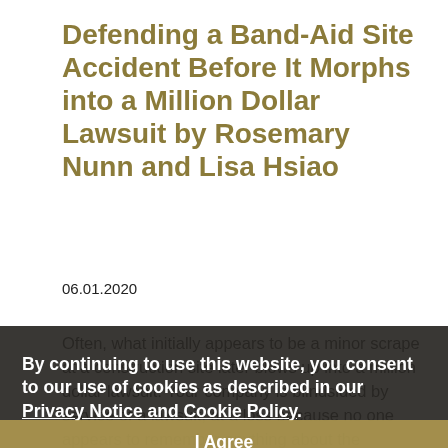Defending a Band-Aid Site Accident Before It Morphs into a Million Dollar Lawsuit by Rosemary Nunn and Lisa Hsiao
06.01.2020
Often, what initially appears to be a minor scrape at a construction site later blows up into a million dollar lawsuit. Your company is blindsided by service of a lawsuit, at a loss because no one appears to remember anything about the allegations. When you finally track down a field guy who vaguely recalls that day, you get an astonished: "Why would we fill out an incident report – that guy walked off the site and drove himself home!" or "She refused medical attention and seemed perfectly fine!" or "He came back the next day and started working!"
By continuing to use this website, you consent to our use of cookies as described in our Privacy Notice and Cookie Policy.
I Agree